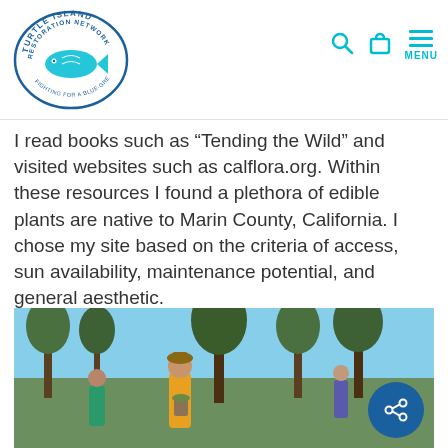Turtle Island Restoration Network — navigation header with logo, search, cart, and menu icons
I read books such as “Tending the Wild” and visited websites such as calflora.org. Within these resources I found a plethora of edible plants are native to Marin County, California. I chose my site based on the criteria of access, sun availability, maintenance potential, and general aesthetic.
[Figure (photo): Outdoor photograph of people, likely children and adults, standing among trees in a natural area on a sunny day with blue sky visible. One person in a yellow jacket holds a plant pot.]